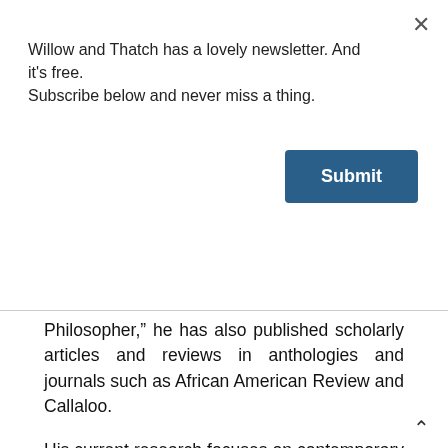Willow and Thatch has a lovely newsletter. And it's free. Subscribe below and never miss a thing.
Submit
Philosopher,” he has also published scholarly articles and reviews in anthologies and journals such as African American Review and Callaloo.
His current research focuses on contemporary representations of American chattel slavery, with a special emphasis on the Underground Railroad. He teaches courses on African American literature, abolitionism, contemporary